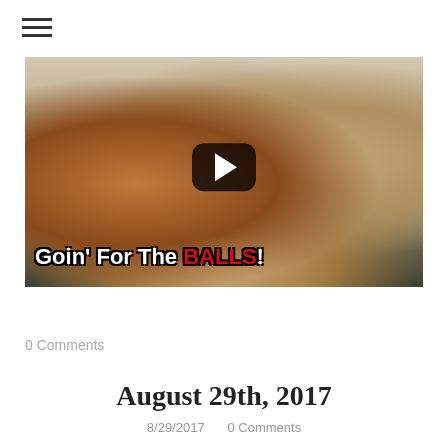☰ (hamburger menu)
[Figure (screenshot): Video thumbnail showing two people lying on a bed, with a YouTube-style play button overlay and text 'Goin' For The BALLS!' overlaid on the image in white and red bold font.]
Tweet
0 Comments
August 29th, 2017
8/29/2017  0 Comments